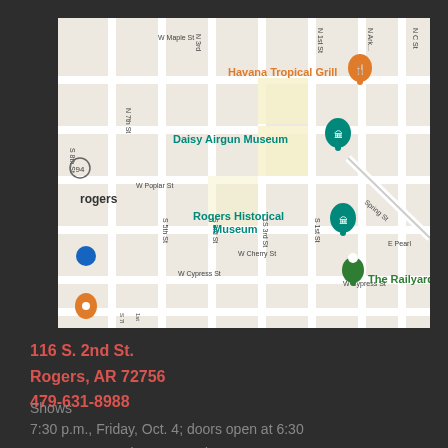[Figure (map): Google Maps screenshot showing downtown Rogers, AR area with markers for Havana Tropical Grill, Daisy Airgun Museum, Rogers Historical Museum, and The Railyard B. Streets visible include W Maple St, W Poplar St, W Cherry St, W Cypress St, N 1st St, S 1st St, S 3rd St, S 5th St, S 7th St, S 8th St, N 7th St, N Arkansas, N C St, E Pearl, Spring St.]
116 S. 2nd St.
Rogers, AR 72756
479-631-8988
Shows
7:30 p.m., Friday, Oct. 4; doors open at 6:30
7:30 p.m. Saturday, Oct. 5; doors open at 6:30